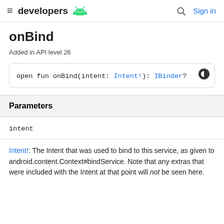≡ developers 🤖  🔍  Sign in
onBind
Added in API level 26
open fun onBind(intent: Intent!): IBinder?
Parameters
intent
Intent!: The Intent that was used to bind to this service, as given to android.content.Context#bindService. Note that any extras that were included with the Intent at that point will not be seen here.